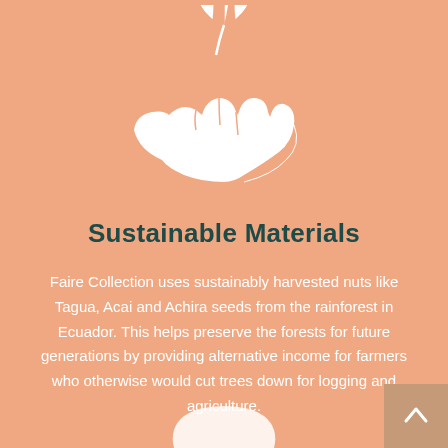[Figure (illustration): White icon of a hand holding a plant with leaves, on salmon/peach background]
Sustainable Materials
Faire Collection uses sustainably harvested nuts like Tagua, Acai and Achira seeds from the rainforest in Ecuador. This helps preserve the forests for future generations by providing alternative income for farmers who otherwise would cut trees down for logging and agriculture.
[Figure (illustration): Partial white illustration of hands visible at bottom of page]
[Figure (illustration): Navigation up-arrow button in brown/tan square at bottom right corner]